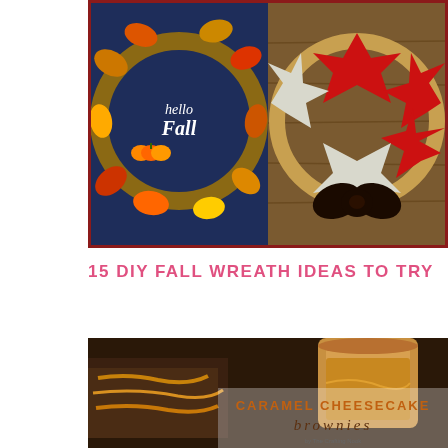[Figure (photo): Two fall/autumn DIY wreaths side by side. Left wreath has colorful autumn leaves, pumpkins, and a 'hello Fall' script sign on a dark blue background. Right wreath has red and silver/white glitter maple leaves with a dark brown/black burlap bow on a wood plank background. Both surrounded by a dark red border.]
15 DIY FALL WREATH IDEAS TO TRY
[Figure (photo): Close-up photo of caramel cheesecake brownies with a jar of caramel sauce in the background. The image has text overlay reading 'CARAMEL CHEESECAKE brownies by The Crafting Nook'.]